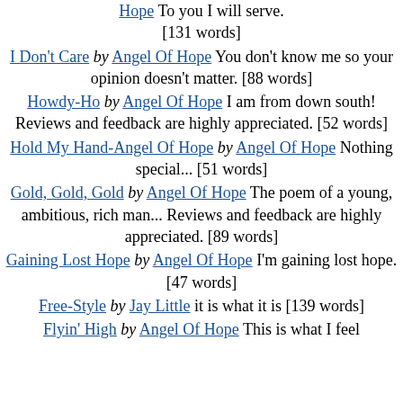Hope To you I will serve. [131 words]
I Don't Care by Angel Of Hope You don't know me so your opinion doesn't matter. [88 words]
Howdy-Ho by Angel Of Hope I am from down south! Reviews and feedback are highly appreciated. [52 words]
Hold My Hand-Angel Of Hope by Angel Of Hope Nothing special... [51 words]
Gold, Gold, Gold by Angel Of Hope The poem of a young, ambitious, rich man... Reviews and feedback are highly appreciated. [89 words]
Gaining Lost Hope by Angel Of Hope I'm gaining lost hope. [47 words]
Free-Style by Jay Little it is what it is [139 words]
Flyin' High by Angel Of Hope This is what I feel